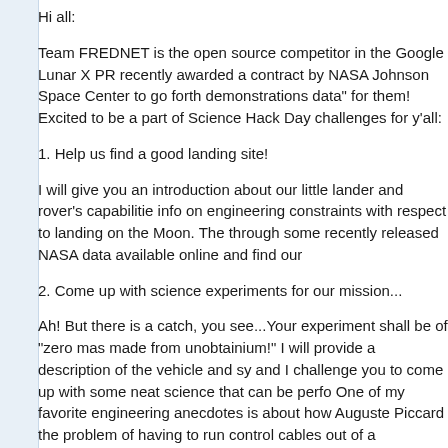Hi all:
Team FREDNET is the open source competitor in the Google Lunar X PR recently awarded a contract by NASA Johnson Space Center to go forth demonstrations data" for them! Excited to be a part of Science Hack Day challenges for y'all:
1. Help us find a good landing site!
I will give you an introduction about our little lander and rover's capabilitie info on engineering constraints with respect to landing on the Moon. The through some recently released NASA data available online and find our
2. Come up with science experiments for our mission...
Ah! But there is a catch, you see...Your experiment shall be of "zero mas made from unobtainium!" I will provide a description of the vehicle and sy and I challenge you to come up with some neat science that can be perfo One of my favorite engineering anecdotes is about how Auguste Piccard the problem of having to run control cables out of a pressurized balloon c holes!)...He came up with the clever solution of attaching a u-tube to the cabin and pouring in mercury, which sealed the hole and doubled up as a